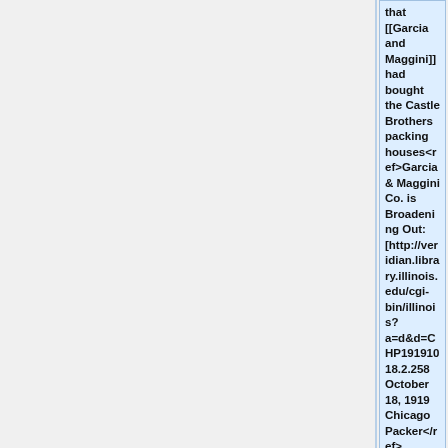that [[Garcia and Maggini]] had bought the Castle Brothers packing houses<ref>Garcia & Maggini Co. is Broadening Out: [http://veridian.library.illinois.edu/cgi-bin/illinois?a=d&d=CHP19191018.2.258 October 18, 1919 Chicago Packer</ref>.
+
As a wholesale grocer, Castle